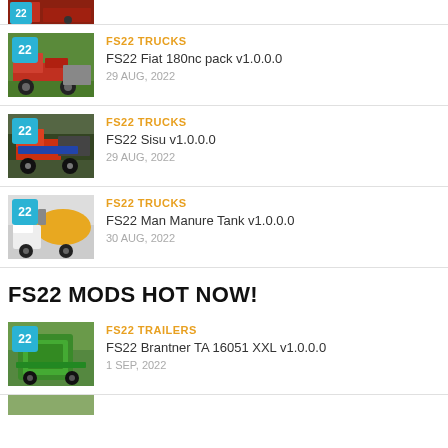[Figure (screenshot): Partially visible top list item thumbnail of a red truck]
FS22 TRUCKS | FS22 Fiat 180nc pack v1.0.0.0 | 29 AUG, 2022
FS22 TRUCKS | FS22 Sisu v1.0.0.0 | 29 AUG, 2022
FS22 TRUCKS | FS22 Man Manure Tank v1.0.0.0 | 30 AUG, 2022
FS22 MODS HOT NOW!
FS22 TRAILERS | FS22 Brantner TA 16051 XXL v1.0.0.0 | 1 SEP, 2022
[Figure (screenshot): Partially visible bottom list item thumbnail]